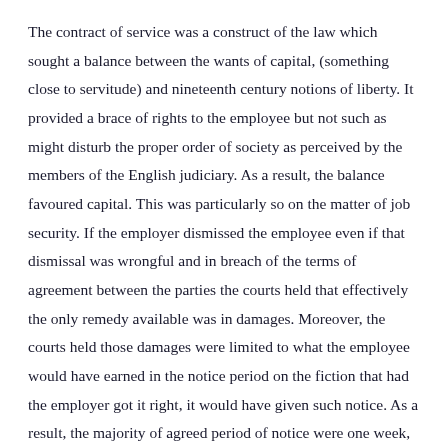The contract of service was a construct of the law which sought a balance between the wants of capital, (something close to servitude) and nineteenth century notions of liberty. It provided a brace of rights to the employee but not such as might disturb the proper order of society as perceived by the members of the English judiciary. As a result, the balance favoured capital. This was particularly so on the matter of job security. If the employer dismissed the employee even if that dismissal was wrongful and in breach of the terms of agreement between the parties the courts held that effectively the only remedy available was in damages. Moreover, the courts held those damages were limited to what the employee would have earned in the notice period on the fiction that had the employer got it right, it would have given such notice. As a result, the majority of agreed period of notice were one week, the